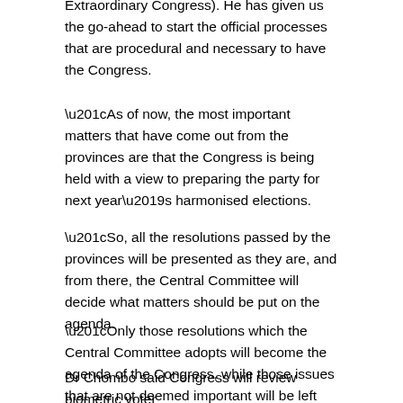Extraordinary Congress). He has given us the go-ahead to start the official processes that are procedural and necessary to have the Congress.
“As of now, the most important matters that have come out from the provinces are that the Congress is being held with a view to preparing the party for next year’s harmonised elections.
“So, all the resolutions passed by the provinces will be presented as they are, and from there, the Central Committee will decide what matters should be put on the agenda.
“Only those resolutions which the Central Committee adopts will become the agenda of the Congress, while those issues that are not deemed important will be left out.”
Dr Chombo said Congress will review biometric voter